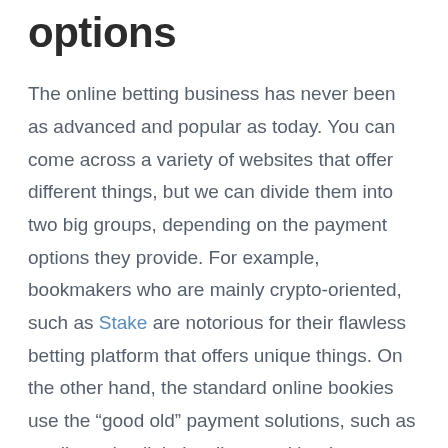options
The online betting business has never been as advanced and popular as today. You can come across a variety of websites that offer different things, but we can divide them into two big groups, depending on the payment options they provide. For example, bookmakers who are mainly crypto-oriented, such as Stake are notorious for their flawless betting platform that offers unique things. On the other hand, the standard online bookies use the “good old” payment solutions, such as credit cards, digital wallets, and bank transfers.